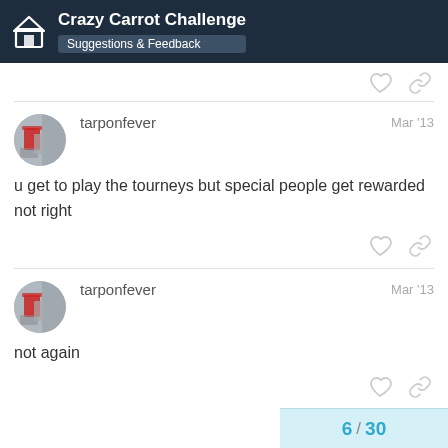Crazy Carrot Challenge — Suggestions & Feedback
tarponfever   Mar '13
u get to play the tourneys but special people get rewarded not right
tarponfever   Mar '13
not again
6 / 30